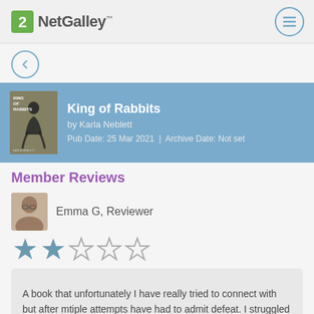NetGalley
King of Rabbits by Karla Neblett Pub Date: 25 Mar 2021 | Archive Date: Not set
Member Reviews
Emma G, Reviewer
[Figure (other): 2 out of 5 star rating — two filled stars, three empty stars]
A book that unfortunately I have really tried to connect with but after mtiple attempts have had to admit defeat. I struggled to really get into it and so wasn't able to absorb the characters as much as I should.